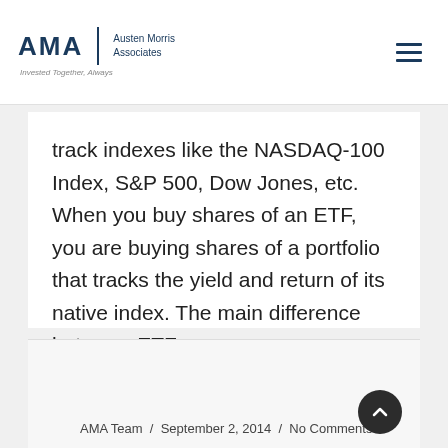AMA | Austen Morris Associates — Invested Together, Always
track indexes like the NASDAQ-100 Index, S&P 500, Dow Jones, etc. When you buy shares of an ETF, you are buying shares of a portfolio that tracks the yield and return of its native index. The main difference between ETFs
READ MORE
AMA Team / September 2, 2014 / No Comments